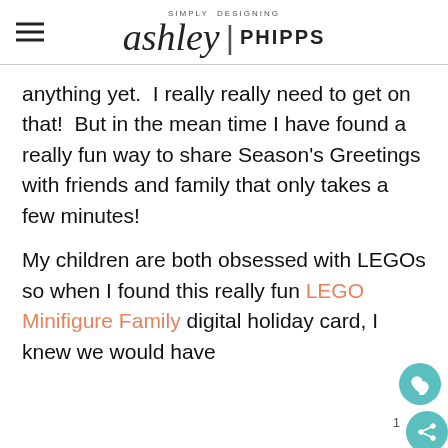SIMPLY DESIGNING ashley | PHIPPS
anything yet.  I really really need to get on that!  But in the mean time I have found a really fun way to share Season's Greetings with friends and family that only takes a few minutes!
My children are both obsessed with LEGOs so when I found this really fun LEGO Minifigure Family digital holiday card, I knew we would have